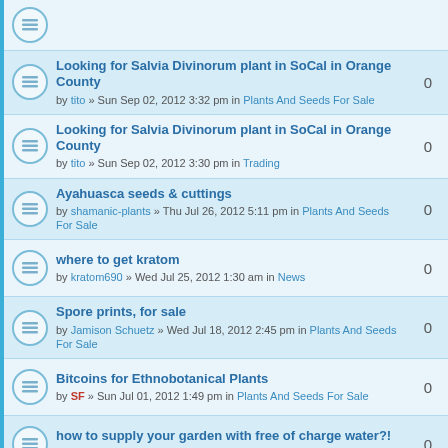Looking for Salvia Divinorum plant in SoCal in Orange County — by tito » Sun Sep 02, 2012 3:32 pm in Plants And Seeds For Sale — 0
Looking for Salvia Divinorum plant in SoCal in Orange County — by tito » Sun Sep 02, 2012 3:30 pm in Trading — 0
Ayahuasca seeds & cuttings — by shamanic-plants » Thu Jul 26, 2012 5:11 pm in Plants And Seeds For Sale — 0
where to get kratom — by kratom690 » Wed Jul 25, 2012 1:30 am in News — 0
Spore prints, for sale — by Jamison Schuetz » Wed Jul 18, 2012 2:45 pm in Plants And Seeds For Sale — 0
Bitcoins for Ethnobotanical Plants — by SF » Sun Jul 01, 2012 1:49 pm in Plants And Seeds For Sale — 0
how to supply your garden with free of charge water?! — by nothim » Sun May 20, 2012 2:33 pm in Trading — 0
Plants wanted for tissue culture — by Jasper » Thu May 17, 2012 3:35 am in Plants And Seeds For Sale — 0
Salvia plants for sale/trade Los Angeles — by cdannaster » Tue May 15, 2012 5:36 pm in Salvia Divinorum Cultivation — 0
Wax On ... Wax Off — by seeker1964 » Sun May 06, 2012 3:32 pm in Salvia Divinorum — 0